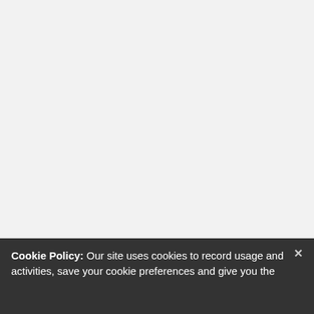Cookie Policy: Our site uses cookies to record usage and activities, save your cookie preferences and give you the